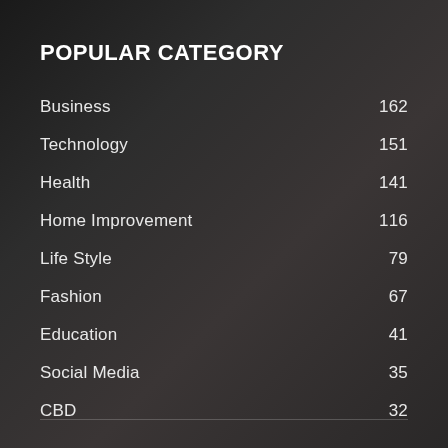POPULAR CATEGORY
Business 162
Technology 151
Health 141
Home Improvement 116
Life Style 79
Fashion 67
Education 41
Social Media 35
CBD 32